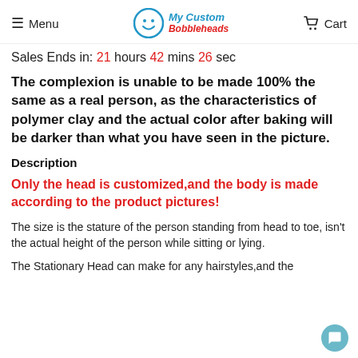Menu  My Custom Bobbleheads  Cart
Sales Ends in: 21 hours 42 mins 26 sec
The complexion is unable to be made 100% the same as a real person, as the characteristics of polymer clay and the actual color after baking will be darker than what you have seen in the picture.
Description
Only the head is customized,and the body is made according to the product pictures!
The size is the stature of the person standing from head to toe, isn't the actual height of the person while sitting or lying.
The Stationary Head can make for any hairstyles,and the